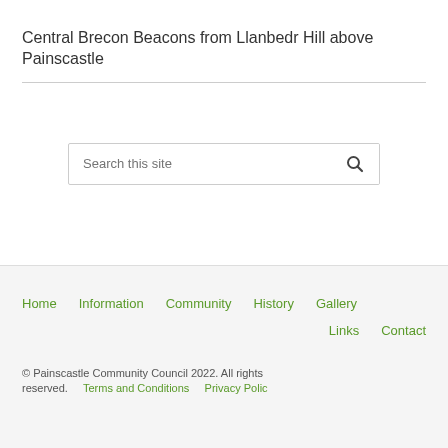Central Brecon Beacons from Llanbedr Hill above Painscastle
[Figure (other): Search box with text 'Search this site' and a search button icon]
Home   Information   Community   History   Gallery   Links   Contact
© Painscastle Community Council 2022. All rights reserved.   Terms and Conditions   Privacy Policy